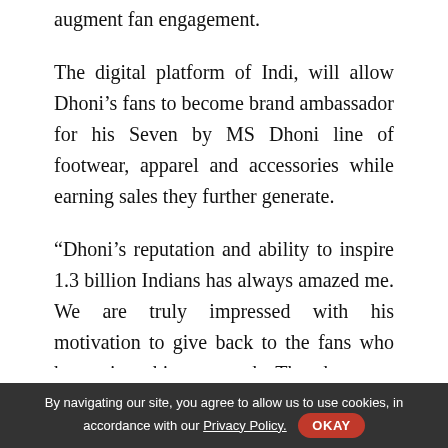augment fan engagement.
The digital platform of Indi, will allow Dhoni’s fans to become brand ambassador for his Seven by MS Dhoni line of footwear, apparel and accessories while earning sales they further generate.
“Dhoni’s reputation and ability to inspire 1.3 billion Indians has always amazed me. We are truly impressed with his motivation to give back to the fans who have given him so much. The chance to become a brand ambassador for Seven is a privilege indeed, and we are honored to be powering this
By navigating our site, you agree to allow us to use cookies, in accordance with our Privacy Policy. OKAY